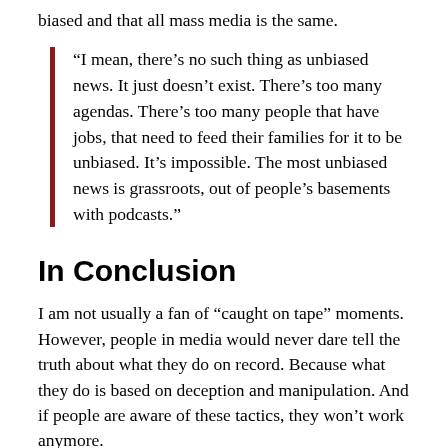biased and that all mass media is the same.
“I mean, there’s no such thing as unbiased news. It just doesn’t exist. There’s too many agendas. There’s too many people that have jobs, that need to feed their families for it to be unbiased. It’s impossible. The most unbiased news is grassroots, out of people’s basements with podcasts.”
In Conclusion
I am not usually a fan of “caught on tape” moments. However, people in media would never dare tell the truth about what they do on record. Because what they do is based on deception and manipulation. And if people are aware of these tactics, they won’t work anymore.
Throughout his revelations, Charlie Chester clearly laid